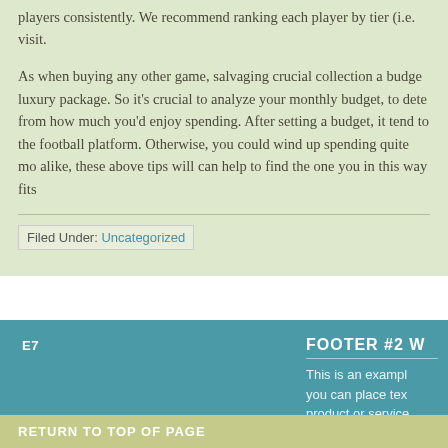players consistently. We recommend ranking each player by tier (i.e. visit.
As when buying any other game, salvaging crucial collection a budge luxury package. So it's crucial to analyze your monthly budget, to dete from how much you'd enjoy spending. After setting a budget, it tend to the football platform. Otherwise, you could wind up spending quite mo alike, these above tips will can help to find the one you in this way fits
Filed Under: Uncategorized
​​​​​​ E7​​​​​​
FOOTER #2 W
This is an exampl you can place tex product or service WordPress widge recent comments
RETURN TO TOP OF PAGE